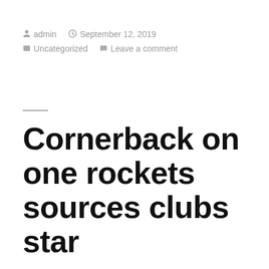admin  September 12, 2019
Uncategorized  Leave a comment
Cornerback on one rockets sources clubs star